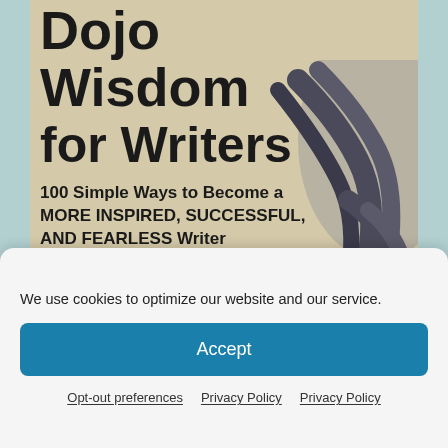[Figure (photo): Book cover of 'Dojo Wisdom for Writers' showing title text on a light wood-grain background with a martial arts belt/rope in the right portion. Subtitle: '100 Simple Ways to Become a MORE INSPIRED, SUCCESSFUL, AND FEARLESS Writer'. Revised 2nd Edition.]
We use cookies to optimize our website and our service.
Accept
Opt-out preferences  Privacy Policy  Privacy Policy